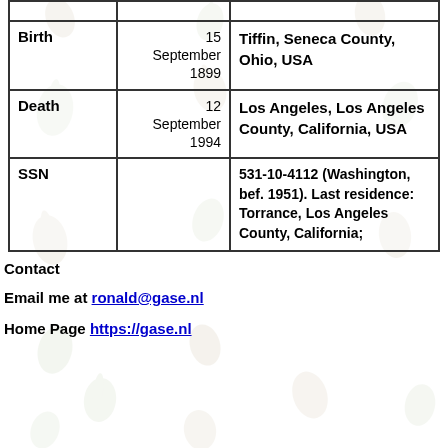| Event | Date | Place |
| --- | --- | --- |
| Birth | 15 September 1899 | Tiffin, Seneca County, Ohio, USA |
| Death | 12 September 1994 | Los Angeles, Los Angeles County, California, USA |
| SSN |  | 531-10-4112 (Washington, bef. 1951). Last residence: Torrance, Los Angeles County, California; |
Contact
Email me at ronald@gase.nl
Home Page https://gase.nl